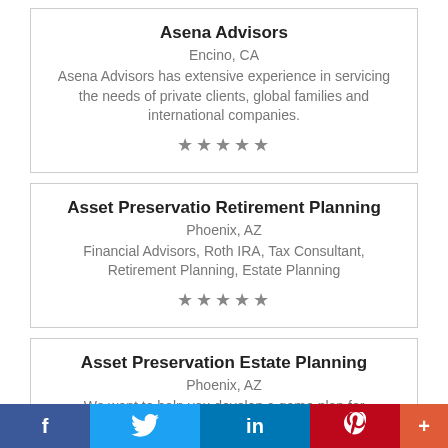Asena Advisors
Encino, CA
Asena Advisors has extensive experience in servicing the needs of private clients, global families and international companies.
[Figure (other): Five grey star rating icons]
Asset Preservatio Retirement Planning
Phoenix, AZ
Financial Advisors, Roth IRA, Tax Consultant, Retirement Planning, Estate Planning
[Figure (other): Five grey star rating icons]
Asset Preservation Estate Planning
Phoenix, AZ
We want to help you develop a game plan for
f  Twitter  in  Pinterest  +